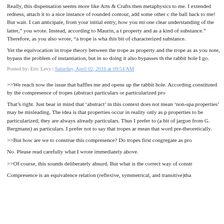Really, this dispensation seems more like Arts & Crafts then metaphysics to me. I extended redness, attach it to a nice instance of rounded contour, add some other c the ball back to me! But wait. I can anticipate, from your initial entry, how you mi one clear understanding of the latter," you wrote. Instead, according to Maurin, a t property and as a kind of substance." Therefore, as you also wrote, "a trope is wha this bit of characterized substance.
Yet the equivocation in trope theory between the trope as property and the trope as as you note, bypass the problem of instantiation, but in so doing it also bypasses th the rabbit hole I go.
Posted by: Eric Levy | Saturday, April 02, 2016 at 09:54 AM
>>We reach now the issue that baffles me and opens up the rabbit hole. According constituted by the compresence of tropes (abstract particulars or particularized pro
That’s right. Just bear in mind that 'abstract' in this context does not mean 'non-spa properties' may be misleading. The idea is that properties occur in reality only as p properties to be particularized; they are always already particulars. Thus I prefer to (a bit of jargon from G. Bergmann) as particulars. I prefer not to say that tropes ar mean that word pre-theoretically.
>>But how are we to construe this compresence? Do tropes first congregate as pro
No. Please read carefully what I wrote immediately above.
>>Of course, this sounds deliberately absurd. But what is the correct way of constr
Compresence is an equivalence relation (reflexive, symmetrical, and transitive)tha